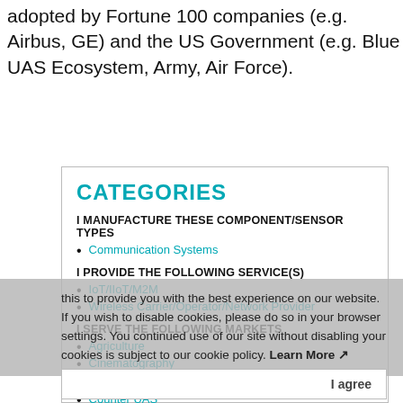adopted by Fortune 100 companies (e.g. Airbus, GE) and the US Government (e.g. Blue UAS Ecosystem, Army, Air Force).
CATEGORIES
I MANUFACTURE THESE COMPONENT/SENSOR TYPES
Communication Systems
I PROVIDE THE FOLLOWING SERVICE(S)
IoT/IIoT/M2M
Wireless Carrier/Operator/Network Provider
I SERVE THE FOLLOWING MARKETS
Agriculture
Cinematography
Construction
Counter UAS
Defense/Security
Driverless Cars/Trucks/Automated Vehicles
Energy/Power/Utilities